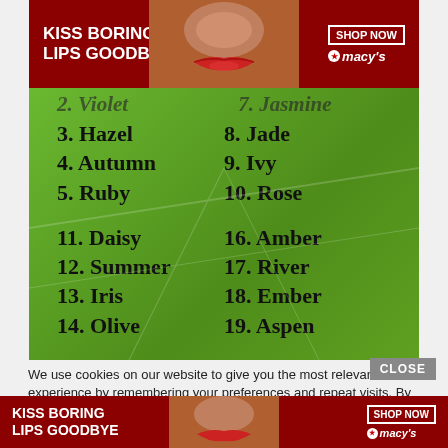[Figure (screenshot): Advertisement banner: KISS BORING LIPS GOODBYE with model and SHOP NOW / Macy's branding on dark red background]
2. Violet   7. Jasmine (partially visible)
3. Hazel
8. Jade
4. Autumn
9. Ivy
5. Ruby
10. Rose
11. Daisy
16. Amber
12. Summer
17. River
13. Iris
18. Ember
14. Olive
19. Aspen
We use cookies on our website to give you the most relevant experience by remembering your preferences and repeat visits. By clicking “Accept”, you consent to the use of ALL the cookies.
Do not sell my personal information.
[Figure (screenshot): CLOSE button and cookie settings input area with Cookie label and green Accept button, and bottom ad banner KISS BORING LIPS GOODBYE with Macy's branding]